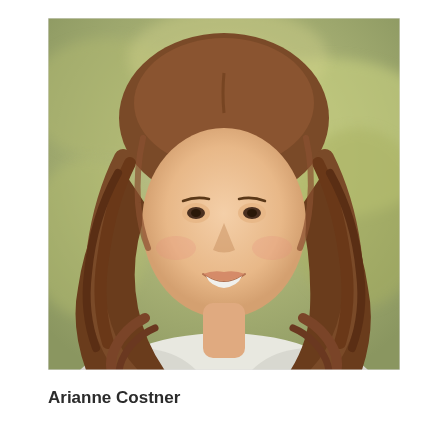[Figure (photo): Portrait photo of a young woman with long wavy brown hair, smiling, with a blurred outdoor background of green and beige tones.]
Arianne Costner